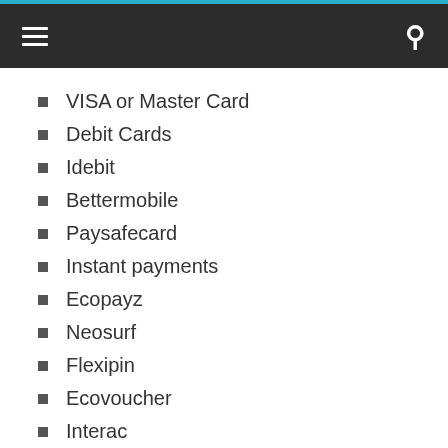VISA or Master Card
Debit Cards
Idebit
Bettermobile
Paysafecard
Instant payments
Ecopayz
Neosurf
Flexipin
Ecovoucher
Interac
If you don’t wish to make any real money deposit at Platinum Play, then it’s your choice as the casino also offers free Baccarat games to play even with your mobile. Not to worry the online variants of Baccarat these days teach you and guide you to